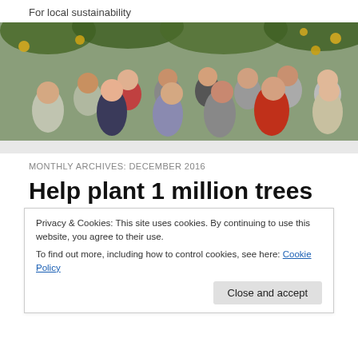For local sustainability
[Figure (photo): Group photo of approximately 14 people standing together in what appears to be a greenhouse or polytunnel, with yellow/orange fruits visible on plants behind them]
MONTHLY ARCHIVES: DECEMBER 2016
Help plant 1 million trees in
Privacy & Cookies: This site uses cookies. By continuing to use this website, you agree to their use.
To find out more, including how to control cookies, see here: Cookie Policy
Close and accept
Ireland needs more native trees. Packs of trees for